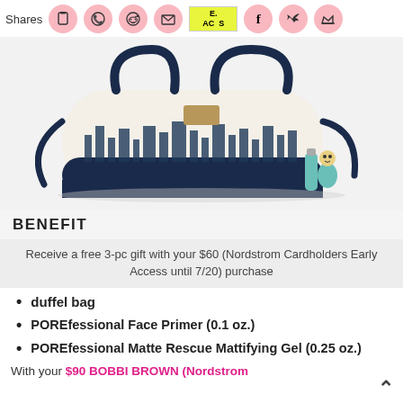Shares
[Figure (photo): A navy and white Benefit branded duffel bag with a city skyline graphic, accompanied by two small Benefit cosmetic products (POREfessional primers) in front.]
BENEFIT
Receive a free 3-pc gift with your $60 (Nordstrom Cardholders Early Access until 7/20) purchase
duffel bag
POREfessional Face Primer (0.1 oz.)
POREfessional Matte Rescue Mattifying Gel (0.25 oz.)
With your $90 BOBBI BROWN (Nordstrom